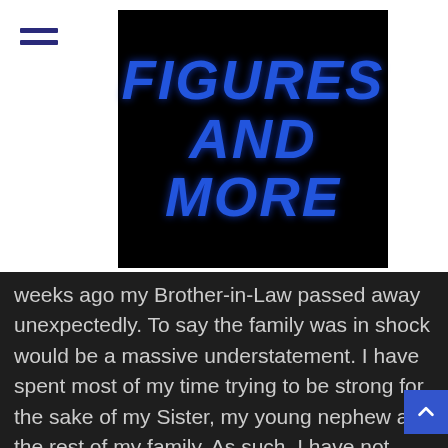[Figure (logo): Figures And More logo — white background with black rectangle containing blue stylized block-letter text reading FIGURES AND MORE]
weeks ago my Brother-in-Law passed away unexpectedly. To say the family was in shock would be a massive understatement. I have spent most of my time trying to be strong for the sake of my Sister, my young nephew and the rest of my family. As such, I have not really worked through it myself. While reading this issue, I suddenly started tearing up and by the end of it, I had worked through a lot of what I had bottled inside. I wrote Tom King a private message thanking him for his unintentional help in getting through this tough time. To his credit, he write me back expressing his sympathy for my loss and